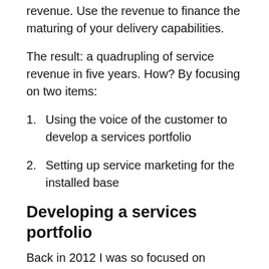revenue. Use the revenue to finance the maturing of your delivery capabilities.
The result: a quadrupling of service revenue in five years. How? By focusing on two items:
1. Using the voice of the customer to develop a services portfolio
2. Setting up service marketing for the installed base
Developing a services portfolio
Back in 2012 I was so focused on service delivery, it never crossed my mind to challenge my services portfolio. My sales colleagues explained to me that a portfolio with sufficient choice is the basis for revenue generation. We then set on a course to